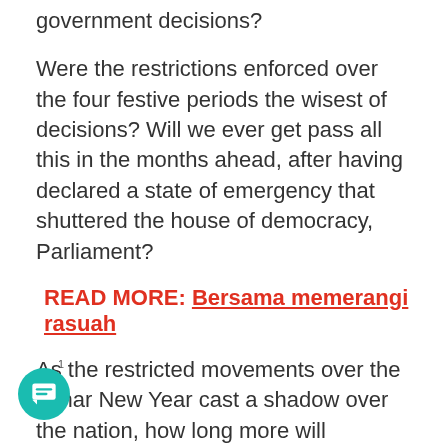government decisions?
Were the restrictions enforced over the four festive periods the wisest of decisions? Will we ever get pass all this in the months ahead, after having declared a state of emergency that shuttered the house of democracy, Parliament?
READ MORE:  Bersama memerangi rasuah
As the restricted movements over the Lunar New Year cast a shadow over the nation, how long more will humanity remain prisoner to the Covid scare? Could we have done any better without having to sacrifice the greatness of being Malaysian?